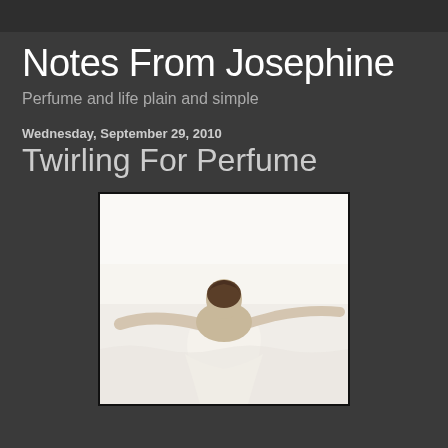Notes From Josephine
Perfume and life plain and simple
Wednesday, September 29, 2010
Twirling For Perfume
[Figure (photo): A person with their back to the camera, arms spread wide, appearing to twirl or stand in an expansive white space. The image has a soft, light, airy feel.]